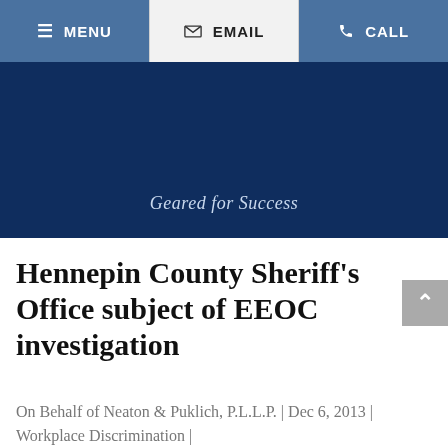≡ MENU | ✉ Email | ☎ CALL
[Figure (other): Dark blue hero banner with tagline 'Geared for Success']
Geared for Success
Hennepin County Sheriff's Office subject of EEOC investigation
On Behalf of Neaton & Puklich, P.L.L.P. | Dec 6, 2013 | Workplace Discrimination |